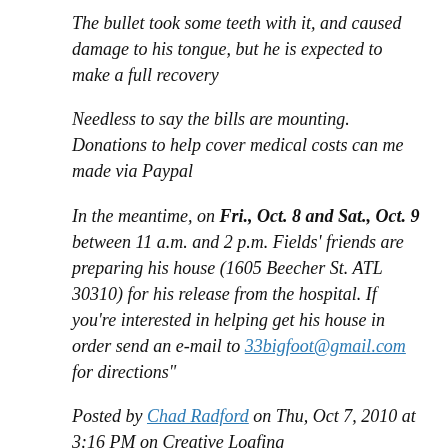The bullet took some teeth with it, and caused damage to his tongue, but he is expected to make a full recovery
Needless to say the bills are mounting. Donations to help cover medical costs can me made via Paypal
In the meantime, on Fri., Oct. 8 and Sat., Oct. 9 between 11 a.m. and 2 p.m. Fields’ friends are preparing his house (1605 Beecher St. ATL 30310) for his release from the hospital. If you’re interested in helping get his house in order send an e-mail to 33bigfoot@gmail.com for directions”
Posted by Chad Radford on Thu, Oct 7, 2010 at 3:16 PM on Creative Loafing